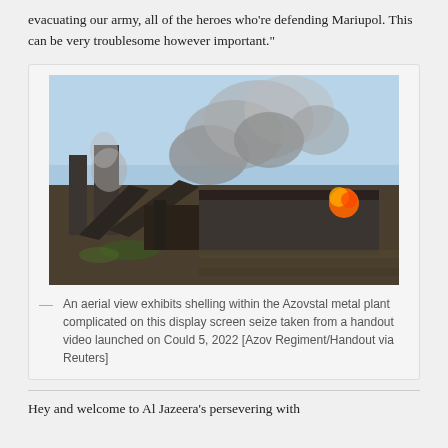evacuating our army, all of the heroes who're defending Mariupol. This can be very troublesome however important."
[Figure (photo): Aerial view of shelling within the Azovstal metal plant, showing heavy smoke and fire from the industrial complex, taken from a handout video.]
An aerial view exhibits shelling within the Azovstal metal plant complicated on this display screen seize taken from a handout video launched on Could 5, 2022 [Azov Regiment/Handout via Reuters]
Hey and welcome to Al Jazeera's persevering with